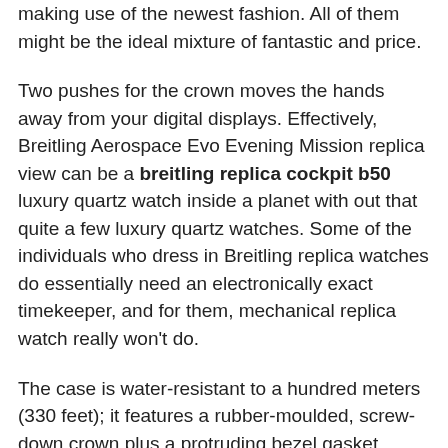making use of the newest fashion. All of them might be the ideal mixture of fantastic and price.
Two pushes for the crown moves the hands away from your digital displays. Effectively, Breitling Aerospace Evo Evening Mission replica view can be a breitling replica cockpit b50 luxury quartz watch inside a planet with out that quite a few luxury quartz watches. Some of the individuals who dress in Breitling replica watches do essentially need an electronically exact timekeeper, and for them, mechanical replica watch really won't do.
The case is water-resistant to a hundred meters (330 feet); it features a rubber-moulded, screw-down crown plus a protruding bezel gasket protecting the domed, glareproofed sapphire crystal. Not that Breitling does not have its honest share of "retro-themed" pilot replica watches, but at the least they also have modern ones breitling chronoliner fake. Speaking of that, modern Aerospace replica watches are typified by their "ana-digi" dials which combine analog hands and two LCD screens